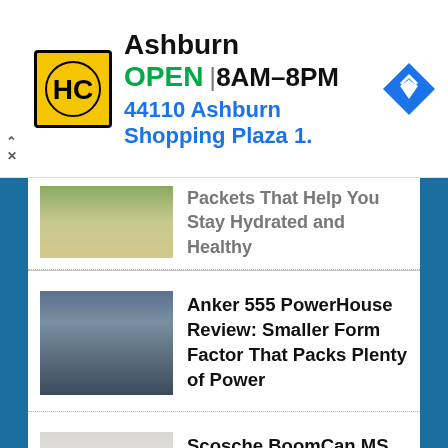[Figure (screenshot): Hardware store advertisement banner: HC logo in yellow/black, 'Ashburn OPEN 8AM-8PM', '44110 Ashburn Shopping Plaza 1.', blue navigation diamond icon]
Packets That Help You Stay Hydrated and Healthy
Anker 555 PowerHouse Review: Smaller Form Factor That Packs Plenty of Power
Scosche BoomCan MS Review: A Mini MagSafe Compatible Wireless Speaker
Scosche PowerVolt Traveler30 Wall and Car Travel Charger Review: Now You Can Power Up